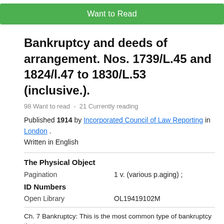[Figure (screenshot): Green 'Want to Read' button at top of page]
Bankruptcy and deeds of arrangement. Nos. 1739/L.45 and 1824/l.47 to 1830/L.53 (inclusive.).
98 Want to read  -  21 Currently reading
Published 1914 by Incorporated Council of Law Reporting in London . Written in English
The Physical Object
Pagination   1 v. (various p.aging) ;
ID Numbers
Open Library   OL19419102M
Ch. 7 Bankruptcy: This is the most common type of bankruptcy that